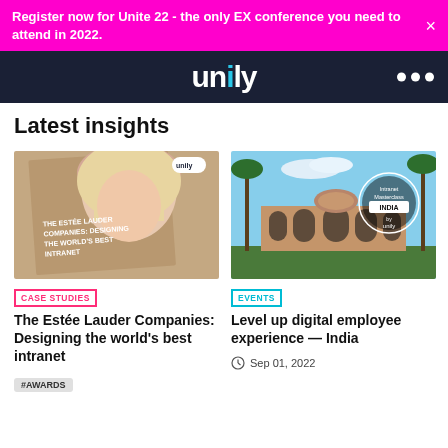Register now for Unite 22 - the only EX conference you need to attend in 2022.
[Figure (logo): Unily logo on dark navy navbar with three dot menu icon]
Latest insights
[Figure (photo): Cover of a booklet showing a blonde woman with text 'The Estee Lauder Companies: Designing the World's Best Intranet' and Unily logo]
CASE STUDIES
The Estée Lauder Companies: Designing the world's best intranet
#AWARDS
[Figure (photo): Photo of an Indian monument (Humayun's Tomb) with palm trees and an Intranet Masterclass India badge overlay by Unily]
EVENTS
Level up digital employee experience — India
Sep 01, 2022